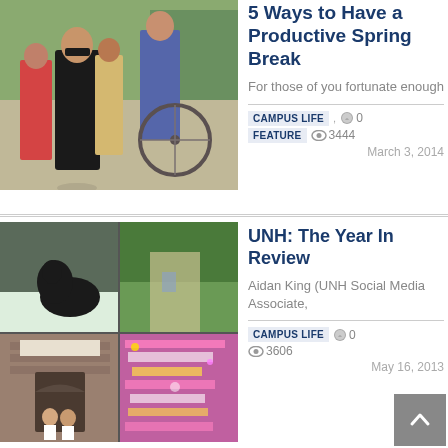[Figure (photo): Students walking on a campus path, one person on a bicycle, outdoor daytime scene]
5 Ways to Have a Productive Spring Break
For those of you fortunate enough
CAMPUS LIFE , FEATURE  0  3444  March 3, 2014
[Figure (photo): Collage of four campus photos: animal on snow, green campus area, building entrance, decorative grad cap]
UNH: The Year In Review
Aidan King (UNH Social Media Associate,
CAMPUS LIFE  0  3606  May 16, 2013